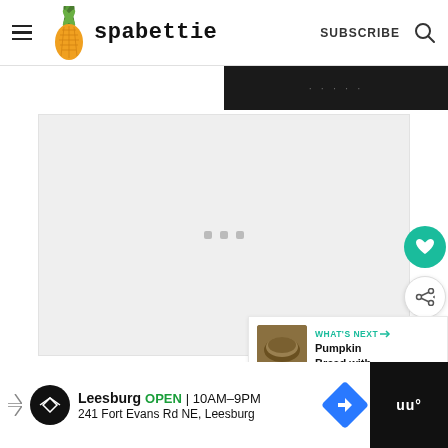spabettie — SUBSCRIBE
[Figure (screenshot): Loading/placeholder content area with grey background and three small grey dots in center]
[Figure (infographic): Floating teal heart button and white share button on right side]
[Figure (infographic): What's Next panel with pumpkin bread thumbnail and text: WHAT'S NEXT → Pumpkin Bread with...]
[Figure (infographic): Bottom advertisement bar: Leesburg OPEN 10AM-9PM, 241 Fort Evans Rd NE, Leesburg with navigation icon and weather widget area]